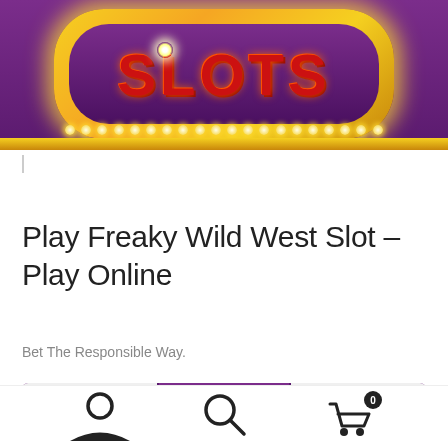[Figure (illustration): Casino slots sign — red text 'SLOTS' on purple background inside a gold glowing marquee ring with light bulbs along the bottom edge]
|
Play Freaky Wild West Slot – Play Online
Bet The Responsible Way.
[Figure (screenshot): Slot game banner showing gold coins, roulette wheel, and crown on purple and white background with gold ornamental corners]
[Figure (illustration): Bottom navigation bar with user profile icon, search icon, and shopping cart icon with badge showing 0]